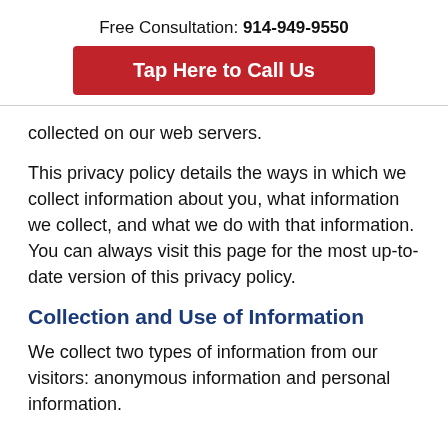Free Consultation: 914-949-9550
Tap Here to Call Us
collected on our web servers.
This privacy policy details the ways in which we collect information about you, what information we collect, and what we do with that information. You can always visit this page for the most up-to-date version of this privacy policy.
Collection and Use of Information
We collect two types of information from our visitors: anonymous information and personal information.